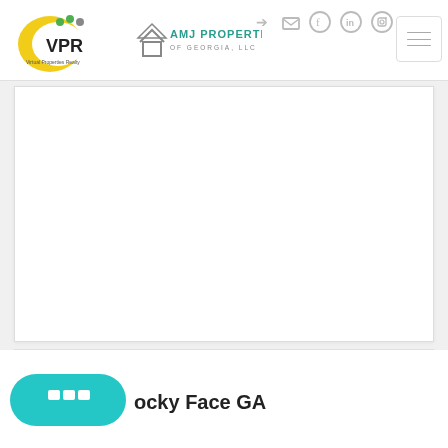[Figure (logo): VPR Virtual Properties Realty logo - crescent yellow shape with green and dark dots and VPR text]
[Figure (logo): AMJ Properties of Georgia LLC logo - house outline with company name]
[Figure (other): Social media and login icons in header: login arrow, mail, Facebook, LinkedIn, Instagram]
[Figure (other): Hamburger menu button with three horizontal lines]
[Figure (other): Large white content card/panel area]
[Figure (other): Teal/cyan chat button with speech bubble dots icon]
ocky Face GA